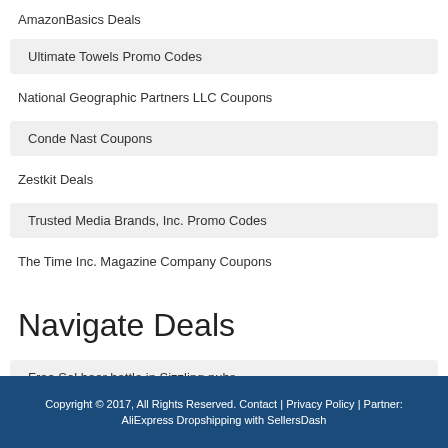AmazonBasics Deals
Ultimate Towels Promo Codes
National Geographic Partners LLC Coupons
Conde Nast Coupons
Zestkit Deals
Trusted Media Brands, Inc. Promo Codes
The Time Inc. Magazine Company Coupons
Navigate Deals
Free Sol beer bottle in Sizzling pubs
Copyright © 2017, All Rights Reserved. Contact | Privacy Policy | Partner: AliExpress Dropshipping with SellersDash